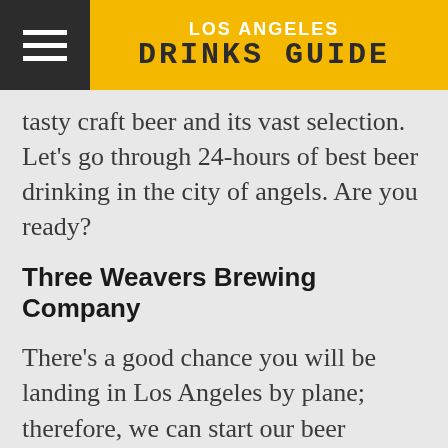LOS ANGELES DRINKS GUIDE
tasty craft beer and its vast selection. Let’s go through 24-hours of best beer drinking in the city of angels. Are you ready?
Three Weavers Brewing Company
There’s a good chance you will be landing in Los Angeles by plane; therefore, we can start our beer journey right away! Three Weavers Brewing Company is located just 10 minutes from the Los Angeles airport